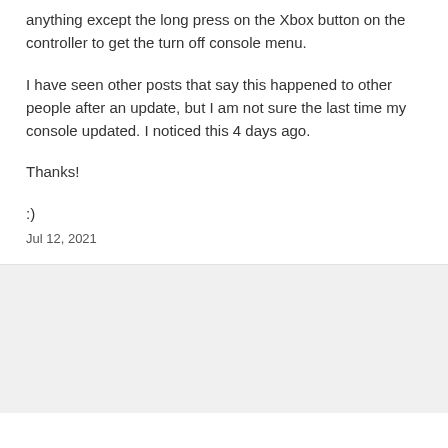anything except the long press on the Xbox button on the controller to get the turn off console menu.
I have seen other posts that say this happened to other people after an update, but I am not sure the last time my console updated. I noticed this 4 days ago.
Thanks!
:)
Jul 12, 2021